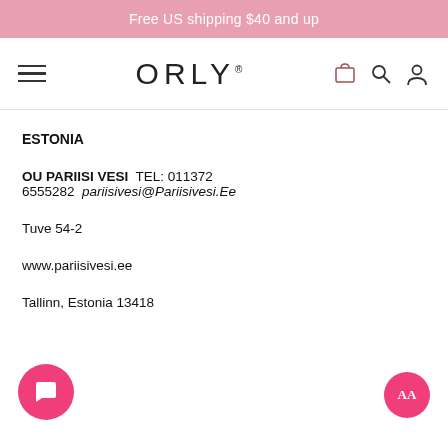Free US shipping $40 and up
[Figure (logo): ORLY brand logo with hamburger menu, cart, search, and user icons]
ESTONIA
OU PARIISI VESI  TEL: 011372 6555282  pariisivesi@Pariisivesi.Ee
Tuve 54-2
www.pariisivesi.ee
Tallinn, Estonia 13418